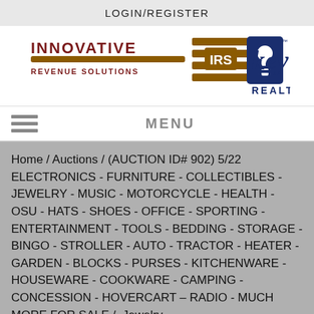LOGIN/REGISTER
[Figure (logo): Innovative Revenue Solutions IRS logo combined with iKey Realty logo]
MENU
Home / Auctions / (AUCTION ID# 902) 5/22 ELECTRONICS - FURNITURE - COLLECTIBLES - JEWELRY - MUSIC - MOTORCYCLE - HEALTH - OSU - HATS - SHOES - OFFICE - SPORTING - ENTERTAINMENT - TOOLS - BEDDING - STORAGE - BINGO - STROLLER - AUTO - TRACTOR - HEATER - GARDEN - BLOCKS - PURSES - KITCHENWARE - HOUSEWARE - COOKWARE - CAMPING - CONCESSION - HOVERCART – RADIO - MUCH MORE FOR SALE /  Jewelry